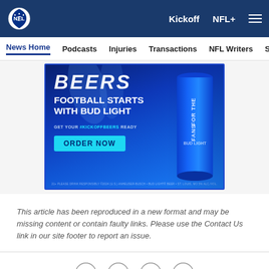NFL — Kickoff  NFL+  [menu]
News Home  Podcasts  Injuries  Transactions  NFL Writers  Se
[Figure (photo): Bud Light advertisement: 'FOOTBALL STARTS WITH BUD LIGHT – GET YOUR #KICKOFFBEERS READY – ORDER NOW' on blue background with beer can]
This article has been reproduced in a new format and may be missing content or contain faulty links. Please use the Contact Us link in our site footer to report an issue.
[Figure (other): Social sharing icons: Facebook, Twitter, Email, Link]